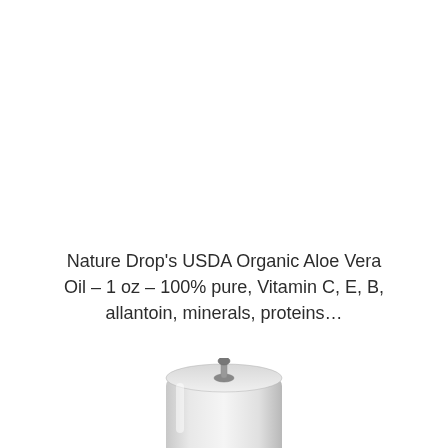Nature Drop's USDA Organic Aloe Vera Oil – 1 oz – 100% pure, Vitamin C, E, B, allantoin, minerals, proteins…
)
[Figure (photo): Partial view of a white cylindrical product bottle (Aloe Vera Oil) with a pump/nozzle top, shown from above at an angle, cropped at the bottom of the page.]